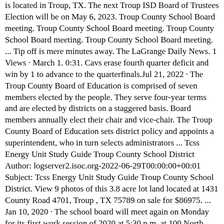is located in Troup, TX. The next Troup ISD Board of Trustees Election will be on May 6, 2023. Troup County School Board meeting. Troup County School Board meeting. Troup County School Board meeting. Troup County School Board meeting. ... Tip off is mere minutes away. The LaGrange Daily News. 1 Views · March 1. 0:31. Cavs erase fourth quarter deficit and win by 1 to advance to the quarterfinals.Jul 21, 2022 · The Troup County Board of Education is comprised of seven members elected by the people. They serve four-year terms and are elected by districts on a staggered basis. Board members annually elect their chair and vice-chair. The Troup County Board of Education sets district policy and appoints a superintendent, who in turn selects administrators ... Tcss Energy Unit Study Guide Troup County School District Author: logserver2.isoc.org-2022-06-29T00:00:00+00:01 Subject: Tcss Energy Unit Study Guide Troup County School District. View 9 photos of this 3.8 acre lot land located at 1431 County Road 4701, Troup , TX 75789 on sale for $86975. ... Jan 10, 2020 · The school board will meet again on Monday for its first work session of 2020 at 5:30 p.m. at 100 North Davis Road. The agenda for that meeting is generally released on Fridays on its website. For more information about the school system visit Troup.k12.ga.us. 2018. 12. 14. · The Troup County School Board said goodbye to two longtime board members on Thursday night. Alfred McNair and Ted Alford participated in their last board meeting on Thursday evening. McNair, who. 2016. 3. 21. · Home: A: Front: Posted on March 21, 2016 School Board